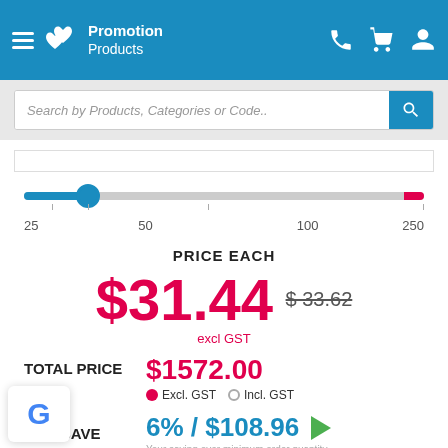Promotion Products — navigation header with search bar
[Figure (infographic): Quantity slider showing range from 25 to 250 with current selection at 50]
PRICE EACH
$31.44  $ 33.62  excl GST
TOTAL PRICE  $1572.00  Excl. GST  Incl. GST
YOU SAVE  6% / $108.96  Your saving over minimum order quantity